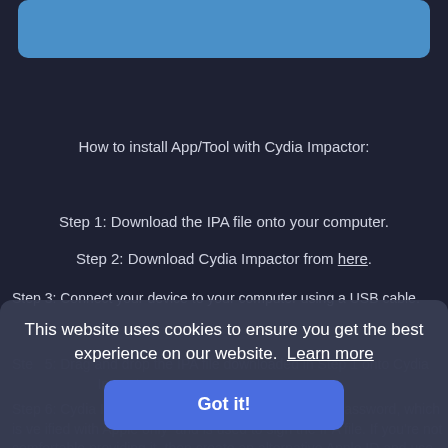[Figure (screenshot): Blue rounded rectangle UI element at top of dark page]
How to install App/Tool with Cydia Impactor:
Step 1: Download the IPA file onto your computer.
Step 2: Download Cydia Impactor from here.
Step 3: Connect your device to your computer using a USB cable.
Step 5: Drag and drop the IPA file downloaded in Step 1 onto Cydia Impactor.
Step 6: Cydia Impactor will ask for your Apple ID and password, which is verified with Apple only and is used to sign the IPA file. If you're not comfortable providing it, then create an alternative Apple ID and use
This website uses cookies to ensure you get the best experience on our website.  Learn more
Got it!